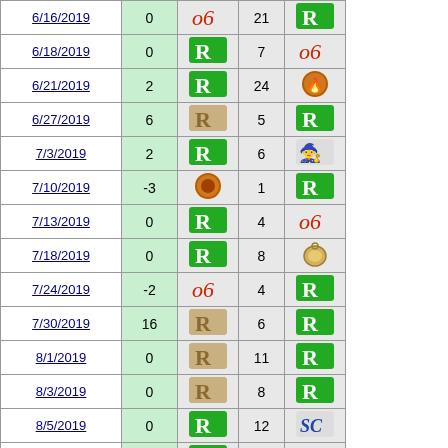| Date | Num | Icon1 | Num2 | Icon2 |
| --- | --- | --- | --- | --- |
| 6/16/2019 | 0 | [alien-R] | 21 | [og-red] |
| 6/18/2019 | 0 | [alien-R] | 7 | [og-red] |
| 6/21/2019 | 2 | [alien-R] | 24 | [fire-circle] |
| 6/27/2019 | 6 | [old-icon] | 5 | [alien-R] |
| 7/3/2019 | 2 | [alien-R] | 6 | [wizard] |
| 7/10/2019 | -3 | [fire-circle] | 1 | [alien-R] |
| 7/13/2019 | 0 | [alien-R] | 4 | [og-red] |
| 7/18/2019 | 0 | [alien-R] | 8 | [pendant] |
| 7/24/2019 | -2 | [og-red] | 4 | [alien-R] |
| 7/30/2019 | 16 | [old-icon] | 6 | [alien-R] |
| 8/1/2019 | 0 | [old-icon] | 11 | [alien-R] |
| 8/3/2019 | 0 | [old-icon] | 8 | [alien-R] |
| 8/5/2019 | 0 | [alien-R] | 12 | [sc-icon] |
| 8/9/2019 | 0 | [alien-R] | 4 | [og-red] |